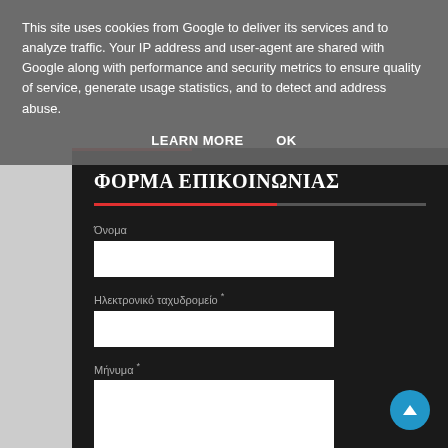This site uses cookies from Google to deliver its services and to analyze traffic. Your IP address and user-agent are shared with Google along with performance and security metrics to ensure quality of service, generate usage statistics, and to detect and address abuse.
LEARN MORE   OK
ΦΟΡΜΑ ΕΠΙΚΟΙΝΩΝΙΑΣ
Όνομα
Ηλεκτρονικό ταχυδρομείο *
Μήνυμα *